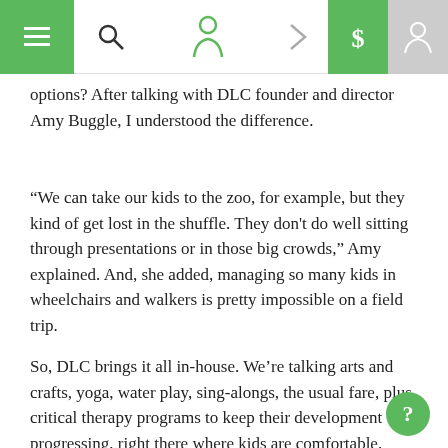Navigation bar with menu, search, logo, arrow, dollar, and user icons
options? After talking with DLC founder and director Amy Buggle, I understood the difference.
“We can take our kids to the zoo, for example, but they kind of get lost in the shuffle. They don't do well sitting through presentations or in those big crowds,” Amy explained. And, she added, managing so many kids in wheelchairs and walkers is pretty impossible on a field trip.
So, DLC brings it all in-house. We’re talking arts and crafts, yoga, water play, sing-alongs, the usual fare, plus critical therapy programs to keep their development progressing, right there where kids are comfortable.